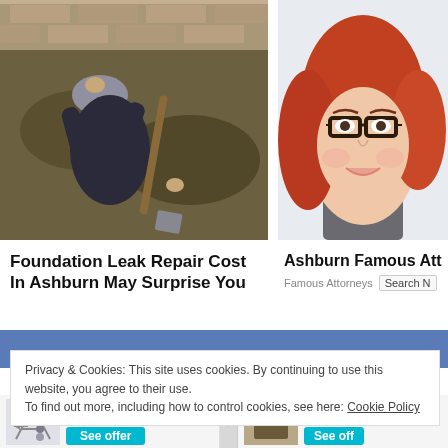[Figure (photo): Person digging in soil next to a brick wall foundation, viewed from above]
[Figure (photo): Portrait of a smiling red-haired woman wearing black-rimmed glasses]
Foundation Leak Repair Cost In Ashburn May Surprise You
Ashburn Famous Attorney
Famous Attorneys
Search N
Privacy & Cookies: This site uses cookies. By continuing to use this website, you agree to their use.
To find out more, including how to control cookies, see here: Cookie Policy
G www.groupon.com
159.99 USD
See offer
G www.groupon.co
459.99 U
See off